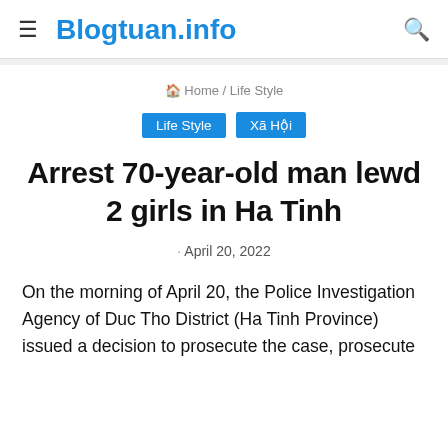Blogtuan.info
Home / Life Style
Life Style  Xã Hội
Arrest 70-year-old man lewd 2 girls in Ha Tinh
April 20, 2022
On the morning of April 20, the Police Investigation Agency of Duc Tho District (Ha Tinh Province) issued a decision to prosecute the case, prosecute